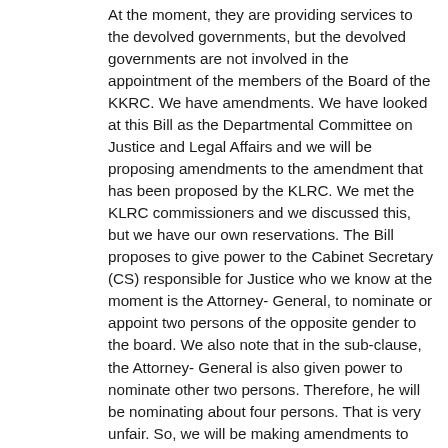At the moment, they are providing services to the devolved governments, but the devolved governments are not involved in the appointment of the members of the Board of the KKRC. We have amendments. We have looked at this Bill as the Departmental Committee on Justice and Legal Affairs and we will be proposing amendments to the amendment that has been proposed by the KLRC. We met the KLRC commissioners and we discussed this, but we have our own reservations. The Bill proposes to give power to the Cabinet Secretary (CS) responsible for Justice who we know at the moment is the Attorney- General, to nominate or appoint two persons of the opposite gender to the board. We also note that in the sub-clause, the Attorney- General is also given power to nominate other two persons. Therefore, he will be nominating about four persons. That is very unfair. So, we will be making amendments to realign this to fairness and reasonableness. We will be proposing an amendment to give power to the CS for the time being, responsible for Justice, who is the Attorney- General, to nominate two persons and not four. Otherwise, he will stuff all his nominees into this board. He will have an unfair advantage over all the others. We agree with the other appointments by the Director of Public Prosecutions (DPP), and one person to be nominated as a judge of the Court of Appeal. We are not sure